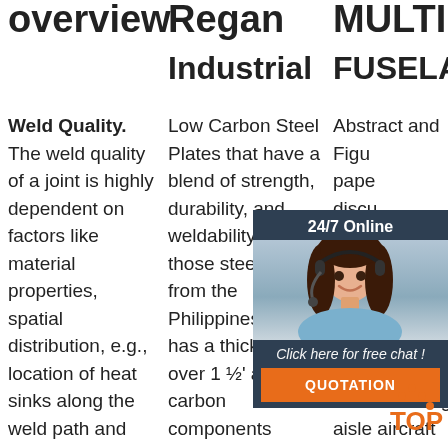overview
Regan
MULTI CN
Industrial
FUSELAGE
Weld Quality. The weld quality of a joint is highly dependent on factors like material properties, spatial distribution, e.g., location of heat sinks along the weld path and geometry of joint, temporal
Low Carbon Steel Plates that have a blend of strength, durability, and weldability are those steel plates from the Philippines that has a thickness of over 1 ½' and carbon components
Abstract and Figures in this paper discusses the development and requirements of a multi lower fuselage demonstrator for a new single aisle aircraft
[Figure (photo): Customer service representative woman with headset smiling, shown in a dark blue chat widget overlay with '24/7 Online' header, 'Click here for free chat!' text, and orange QUOTATION button]
[Figure (other): Orange TOP button with dotted arc above the text]